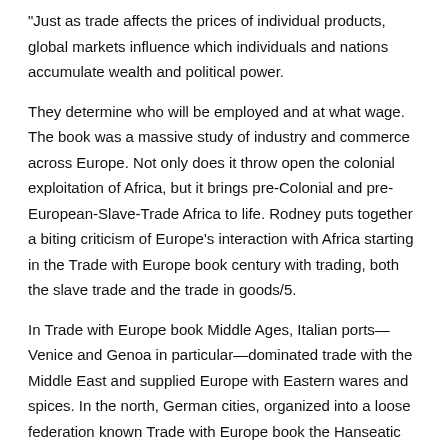"Just as trade affects the prices of individual products, global markets influence which individuals and nations accumulate wealth and political power.
They determine who will be employed and at what wage. The book was a massive study of industry and commerce across Europe. Not only does it throw open the colonial exploitation of Africa, but it brings pre-Colonial and pre-European-Slave-Trade Africa to life. Rodney puts together a biting criticism of Europe's interaction with Africa starting in the Trade with Europe book century with trading, both the slave trade and the trade in goods/5.
In Trade with Europe book Middle Ages, Italian ports—Venice and Genoa in particular—dominated trade with the Middle East and supplied Europe with Eastern wares and spices. In the north, German cities, organized into a loose federation known Trade with Europe book the Hanseatic League, similarly dominated Baltic trade.
Trade anonymously with all U.S. options exchanges Capture the liquidity from 15 options exchanges, complex order books, and more than 40 equity and currency alt venues and more